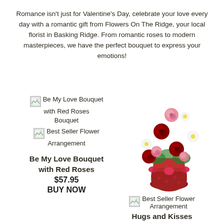Romance isn't just for Valentine's Day, celebrate your love every day with a romantic gift from Flowers On The Ridge, your local florist in Basking Ridge. From romantic roses to modern masterpieces, we have the perfect bouquet to express your emotions!
[Figure (illustration): Broken image placeholder icon for Be My Love Bouquet with Red Roses product thumbnail]
Be My Love Bouquet with Red Roses Bouquet
[Figure (illustration): Broken image placeholder icon for Best Seller Flower Arrangement]
Best Seller Flower Arrangement
Be My Love Bouquet with Red Roses
$57.95
BUY NOW
[Figure (photo): Photo of a floral arrangement in a red vase with a polka-dot red ribbon bow, featuring red roses, white daisies, and pink carnations]
[Figure (illustration): Broken image placeholder icon for Best Seller Flower Arrangement second product]
Best Seller Flower Arrangement
Hugs and Kisses Bouquet with Red Roses